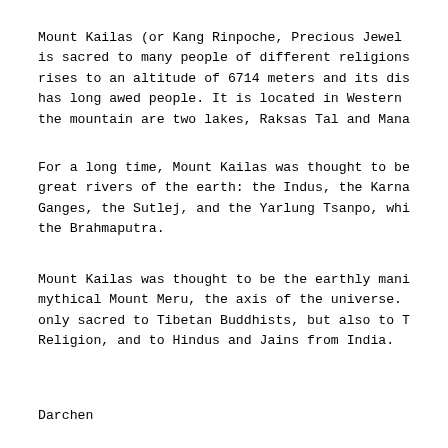Mount Kailas (or Kang Rinpoche, Precious Jewel is sacred to many people of different religions rises to an altitude of 6714 meters and its dis has long awed people. It is located in Western the mountain are two lakes, Raksas Tal and Mana
For a long time, Mount Kailas was thought to be great rivers of the earth: the Indus, the Karna Ganges, the Sutlej, and the Yarlung Tsanpo, whi the Brahmaputra.
Mount Kailas was thought to be the earthly mani mythical Mount Meru, the axis of the universe. only sacred to Tibetan Buddhists, but also to T Religion, and to Hindus and Jains from India.
Darchen